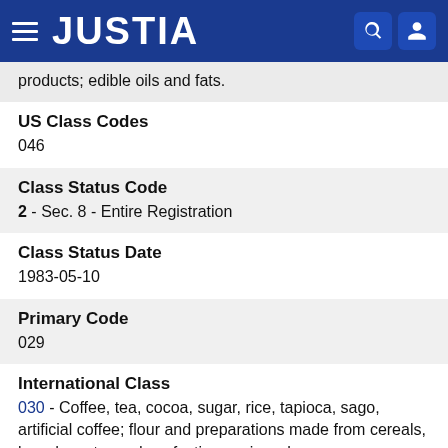JUSTIA
products; edible oils and fats.
US Class Codes
046
Class Status Code
2 - Sec. 8 - Entire Registration
Class Status Date
1983-05-10
Primary Code
029
International Class
030 - Coffee, tea, cocoa, sugar, rice, tapioca, sago, artificial coffee; flour and preparations made from cereals, bread, pastry and confectionery, ices; honey,